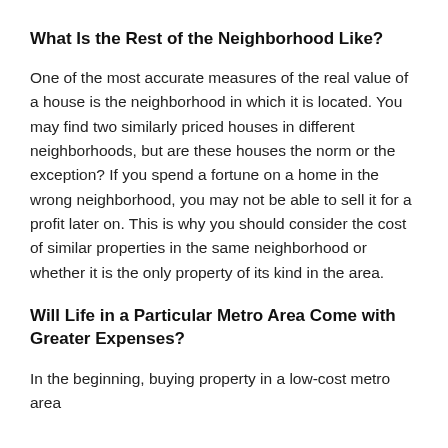What Is the Rest of the Neighborhood Like?
One of the most accurate measures of the real value of a house is the neighborhood in which it is located. You may find two similarly priced houses in different neighborhoods, but are these houses the norm or the exception? If you spend a fortune on a home in the wrong neighborhood, you may not be able to sell it for a profit later on. This is why you should consider the cost of similar properties in the same neighborhood or whether it is the only property of its kind in the area.
Will Life in a Particular Metro Area Come with Greater Expenses?
In the beginning, buying property in a low-cost metro area